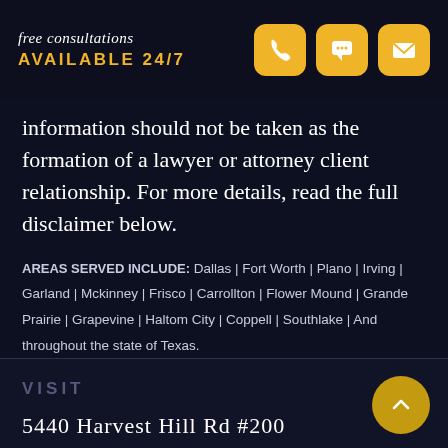free consultations
AVAILABLE 24/7
information should not be taken as the formation of a lawyer or attorney client relationship. For more details, read the full disclaimer below.
AREAS SERVED INCLUDE: Dallas | Fort Worth | Plano | Irving | Garland | Mckinney | Frisco | Carrollton | Flower Mound | Grande Prairie | Grapevine | Haltom City | Coppell | Southlake | And throughout the state of Texas.
VISIT
5440 Harvest Hill Rd #200